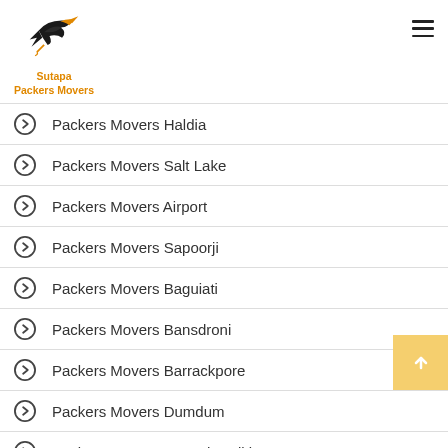[Figure (logo): Sutapa Packers Movers logo with bird silhouette in black and orange, company name in orange text]
Packers Movers Haldia
Packers Movers Salt Lake
Packers Movers Airport
Packers Movers Sapoorji
Packers Movers Baguiati
Packers Movers Bansdroni
Packers Movers Barrackpore
Packers Movers Dumdum
Packers Movers Howrah Salkia
Packers Movers Siliguri